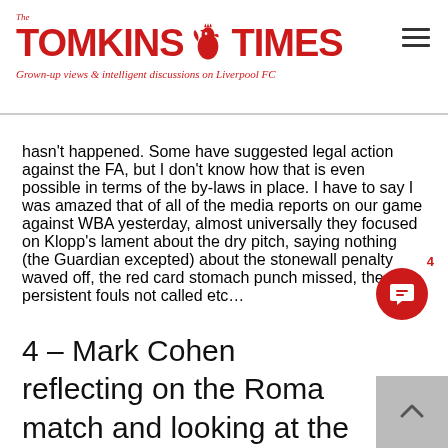The Tomkins Times — Grown-up views & intelligent discussions on Liverpool FC
hasn't happened. Some have suggested legal action against the FA, but I don't know how that is even possible in terms of the by-laws in place. I have to say I was amazed that of all of the media reports on our game against WBA yesterday, almost universally they focused on Klopp's lament about the dry pitch, saying nothing (the Guardian excepted) about the stonewall penalty waved off, the red card stomach punch missed, the persistent fouls not called etc…
4 – Mark Cohen reflecting on the Roma match and looking at the 2nd leg in Roma: